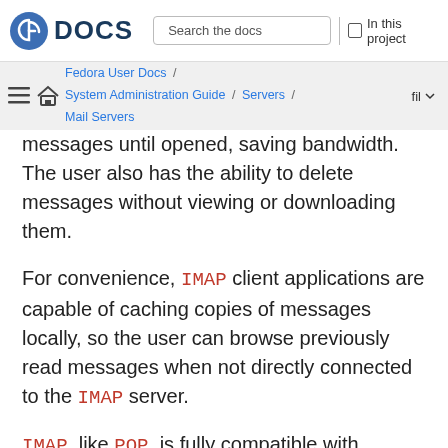Fedora DOCS | Search the docs | In this project
Fedora User Docs / System Administration Guide / Servers / Mail Servers
messages until opened, saving bandwidth. The user also has the ability to delete messages without viewing or downloading them.
For convenience, IMAP client applications are capable of caching copies of messages locally, so the user can browse previously read messages when not directly connected to the IMAP server.
IMAP, like POP, is fully compatible with important Internet messaging standards, such as MIME, which allow for email attachments.
For added security, it is possible to use SSL